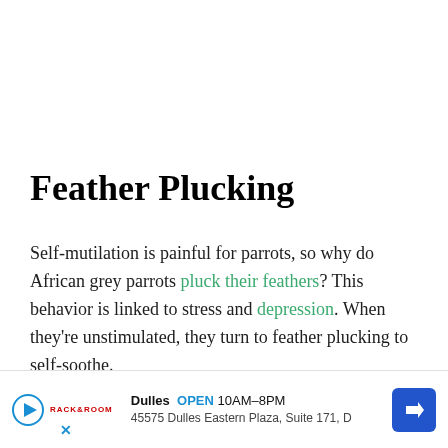Feather Plucking
Self-mutilation is painful for parrots, so why do African grey parrots pluck their feathers? This behavior is linked to stress and depression. When they're unstimulated, they turn to feather plucking to self-soothe.
Similarly, malnutrition will also cause your parrot to plu... d provi...
[Figure (other): Advertisement banner for Dulles store: OPEN 10AM-8PM, 45575 Dulles Eastern Plaza, Suite 171, D. Shows a play button icon, a red logo, a blue X close button, and a blue diamond-shaped arrow icon.]